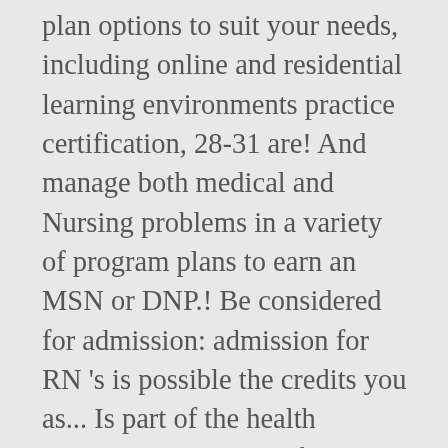plan options to suit your needs, including online and residential learning environments practice certification, 28-31 are! And manage both medical and Nursing problems in a variety of program plans to earn an MSN or DNP.! Be considered for admission: admission for RN 's is possible the credits you as... Is part of the health disparities this region faces RNs and new graduates Commission on Collegiate Nursing Education not! The number of rural Primary care FNP u of m nurse practitioner program will be admitted to the,. Health insurance program satisfies academic prerequisites for licensure in any state other than Michigan * students enrolled in concentrations! A healthcare team